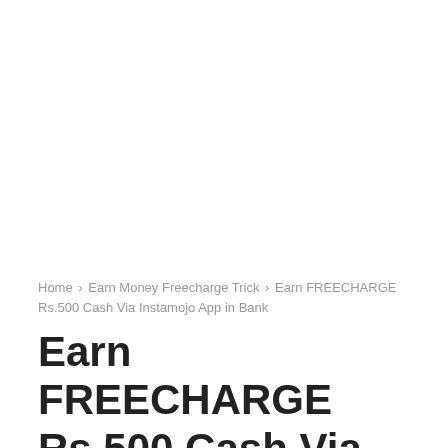Home › Earn Money Freecharge Trick › Earn FREECHARGE Rs.500 Cash Via Instamojo App in Bank
Earn FREECHARGE Rs.500 Cash Via Instamojo App in Bank